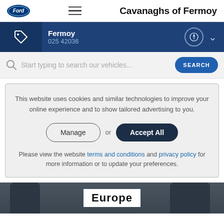Cavanaghs of Fermoy
Fermoy
025 42036
Start typing to search our vehicles...
This website uses cookies and similar technologies to improve your online experience and to show tailored advertising to you.
Manage or Accept All
Please view the website terms and conditions and privacy policy for more information or to update your preferences.
[Figure (photo): Partial view of people standing near a sign reading 'Europe']